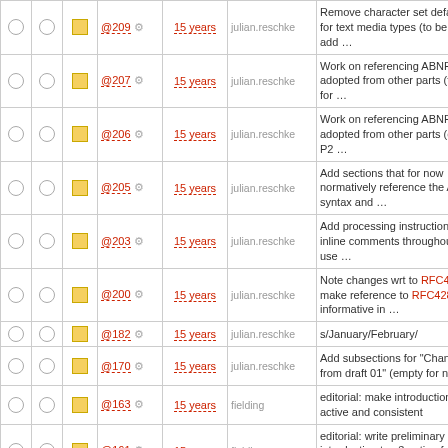|  |  |  | Rev | Age | Author | Log message |
| --- | --- | --- | --- | --- | --- | --- |
| ○ ○ | ■ | @209 ⚙ | 15 years | julian.reschke | Remove character set defaulting for text media types (to be done: add … |
| ○ ○ | ■ | @207 ⚙ | 15 years | julian.reschke | Work on referencing ABNF rules adopted from other parts (finished for … |
| ○ ○ | ■ | @206 ⚙ | 15 years | julian.reschke | Work on referencing ABNF rules adopted from other parts (done for P2 … |
| ○ ○ | ■ | @205 ⚙ | 15 years | julian.reschke | Add sections that for now normatively reference the ABNF syntax and … |
| ○ ○ | ■ | @203 ⚙ | 15 years | julian.reschke | Add processing instructions for inline comments throughout, and use … |
| ○ ○ | ■ | @200 ⚙ | 15 years | julian.reschke | Note changes wrt to RFC4288, make reference to RFC4288 informative in … |
| ○ ○ | ■ | @182 ⚙ | 15 years | julian.reschke | s/January/February/ |
| ○ ○ | ■ | @170 ⚙ | 15 years | julian.reschke | Add subsections for "Changes from draft 01" (empty for now) |
| ○ ○ | ■ | @163 ⚙ | 15 years | fielding | editorial: make introductions more active and consistent |
| ○ ○ | ■ | @161 ⚙ | 15 years | fielding | editorial: write preliminary introduction to p3 noting future reorg |
| ○ ○ | ■ | @153 ⚙ | 15 years | julian.reschke | Update "Editorial Note" stating that we now have … |